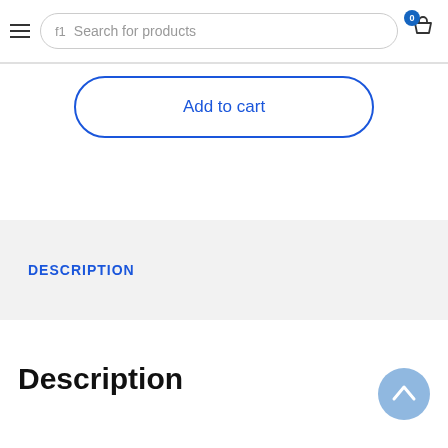Search for products
Add to cart
DESCRIPTION
Description